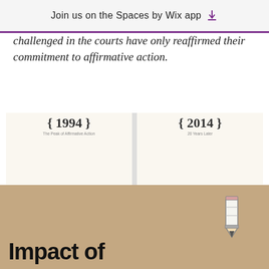Join us on the Spaces by Wix app ↓
challenged in the courts have only reaffirmed their commitment to affirmative action.
[Figure (infographic): Infographic comparing selective school affirmative action status in 1994 (The Peak of Affirmative Action) vs 2014 (20 Years Later). Shows grids of building icons colored to represent school status: Committed, Likely Committed, Highly Affirmative Action, More Committed. Legends show percentages for how many did/can race in admissions. 1994: 69% (125), 20% (63), 9% (32), 3% (4). 2014: 53% (46), 13% (11), 29% (20), 5% (5).]
Impact of